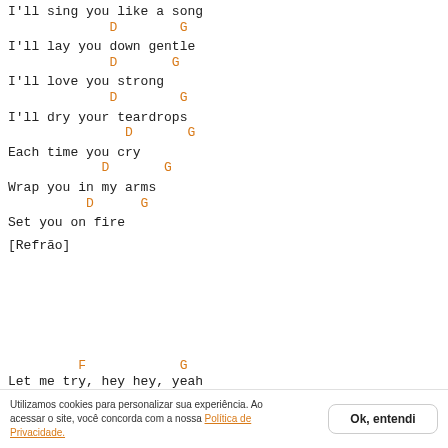I'll sing you like a song
             D        G
I'll lay you down gentle
             D       G
I'll love you strong
             D        G
I'll dry your teardrops
               D       G
Each time you cry
            D       G
Wrap you in my arms
          D      G
Set you on fire
[Refrão]
Utilizamos cookies para personalizar sua experiência. Ao acessar o site, você concorda com a nossa Política de Privacidade.
F            G
Let me try, hey hey, yeah